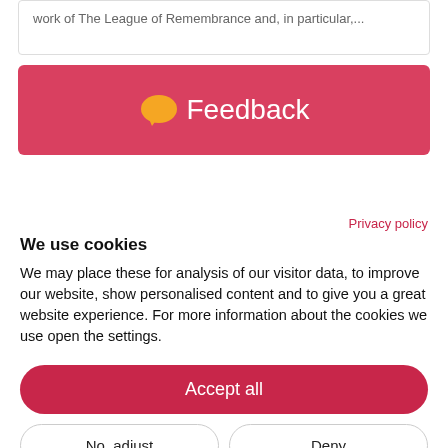work of The League of Remembrance and, in particular,...
[Figure (infographic): Pink/red feedback banner with orange speech bubble icon and white text reading 'Feedback']
Privacy policy
We use cookies
We may place these for analysis of our visitor data, to improve our website, show personalised content and to give you a great website experience. For more information about the cookies we use open the settings.
Accept all
No, adjust
Deny